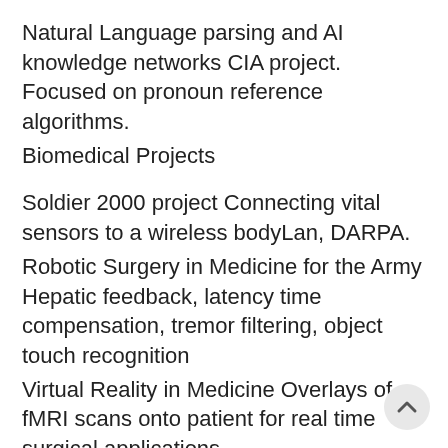Natural Language parsing and AI knowledge networks CIA project. Focused on pronoun reference algorithms.
Biomedical Projects
Soldier 2000 project Connecting vital sensors to a wireless bodyLan, DARPA.
Robotic Surgery in Medicine for the Army Hepatic feedback, latency time compensation, tremor filtering, object touch recognition
Virtual Reality in Medicine Overlays of fMRI scans onto patient for real time surgical applications
Virtual Reality 3-D Reconstruction Teleconferencing Carnegie Mellon University. 3-D reconstruction of objects in the teleconference room.
EEG controlled robots Relatively simplistic mental